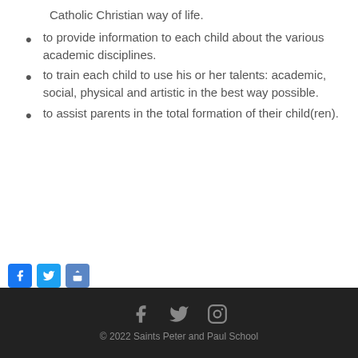Catholic Christian way of life.
to provide information to each child about the various academic disciplines.
to train each child to use his or her talents: academic, social, physical and artistic in the best way possible.
to assist parents in the total formation of their child(ren).
[Figure (other): Social media share buttons: Facebook (blue), Twitter (blue), Share (blue)]
© 2022 Saints Peter and Paul School